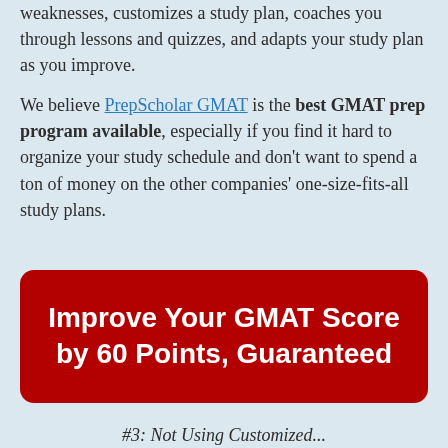weaknesses, customizes a study plan, coaches you through lessons and quizzes, and adapts your study plan as you improve.

We believe PrepScholar GMAT is the best GMAT prep program available, especially if you find it hard to organize your study schedule and don't want to spend a ton of money on the other companies' one-size-fits-all study plans.
[Figure (other): Red rounded-rectangle button with white bold text reading 'Improve Your GMAT Score by 60 Points, Guaranteed']
#3: Not Using Customized...